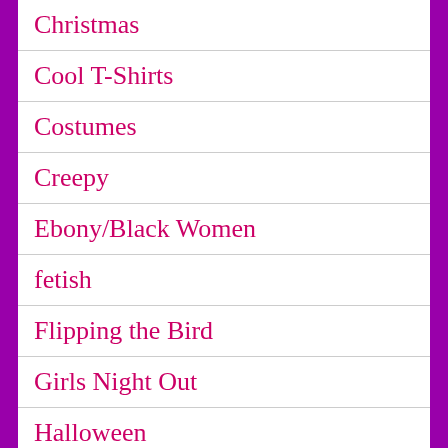Christmas
Cool T-Shirts
Costumes
Creepy
Ebony/Black Women
fetish
Flipping the Bird
Girls Night Out
Halloween